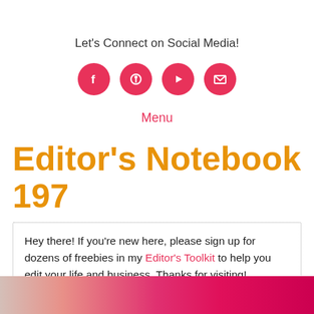Let's Connect on Social Media!
[Figure (infographic): Four pink/red circular social media icons: Facebook (f), Pinterest (pin), YouTube (play button), Email (envelope)]
Menu
Editor's Notebook 197
Hey there! If you're new here, please sign up for dozens of freebies in my Editor's Toolkit to help you edit your life and business. Thanks for visiting!
[Figure (photo): Partial photo strip at bottom showing pink and magenta colors, appears to be a lifestyle/craft photo]